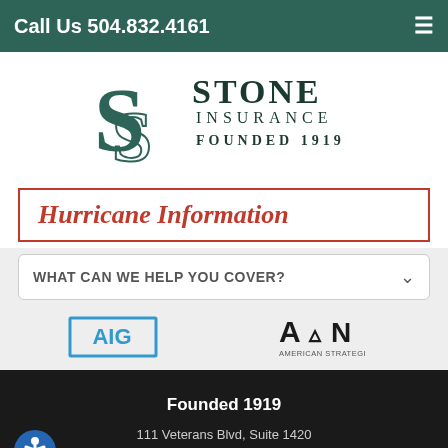Call Us 504.832.4161
[Figure (logo): Stone Insurance Founded 1919 logo with stylized S lettermark in dark teal]
Hurricane Information
WHAT CAN WE HELP YOU COVER?
[Figure (logo): AIG logo in blue rectangle]
[Figure (logo): American Strategic insurance logo]
Founded 1919
111 Veterans Blvd, Suite 1420
Metairie, LA 70005
Facebook | Twitter | LinkedIn | Email | More